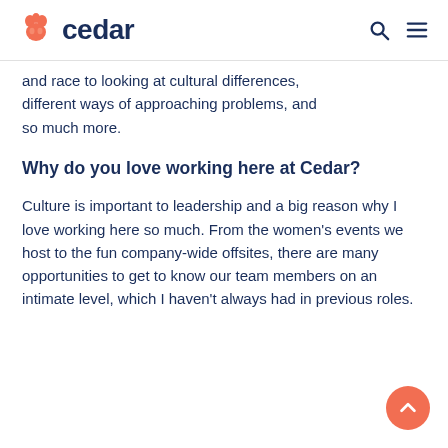cedar
and race to looking at cultural differences, different ways of approaching problems, and so much more.
Why do you love working here at Cedar?
Culture is important to leadership and a big reason why I love working here so much. From the women’s events we host to the fun company-wide offsites, there are many opportunities to get to know our team members on an intimate level, which I haven’t always had in previous roles.